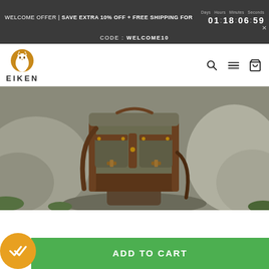WELCOME OFFER | SAVE EXTRA 10% OFF + FREE SHIPPING FOR 01:18:06:59
CODE : WELCOME10
[Figure (logo): Eiken brand logo: golden circle with a lynx/cat silhouette, text EIKEN below in bold spaced letters]
[Figure (photo): Vintage olive/khaki canvas and brown leather backpack with multiple front pockets, brass buckles and studs, sitting outdoors against rocky background with greenery]
When Vintage Style meets Modern Needs
ADD TO CART